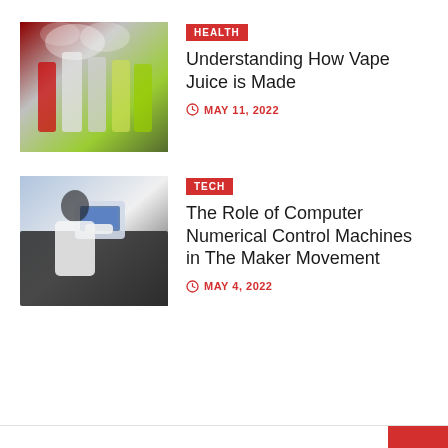[Figure (photo): Colorful vape juice bottles with colorful liquids and smoke/vapor]
HEALTH
Understanding How Vape Juice is Made
MAY 11, 2022
[Figure (photo): Woman in white lab coat operating a CNC machine with control panel]
TECH
The Role of Computer Numerical Control Machines in The Maker Movement
MAY 4, 2022